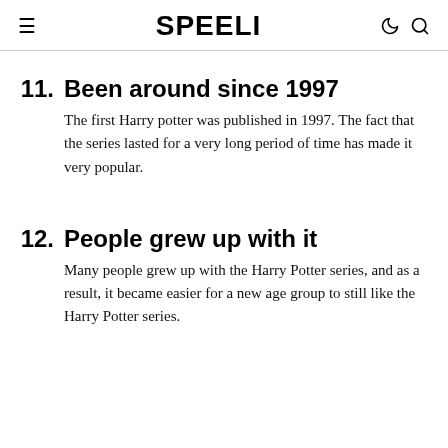SPEELI
11. Been around since 1997
The first Harry potter was published in 1997. The fact that the series lasted for a very long period of time has made it very popular.
12. People grew up with it
Many people grew up with the Harry Potter series, and as a result, it became easier for a new age group to still like the Harry Potter series.